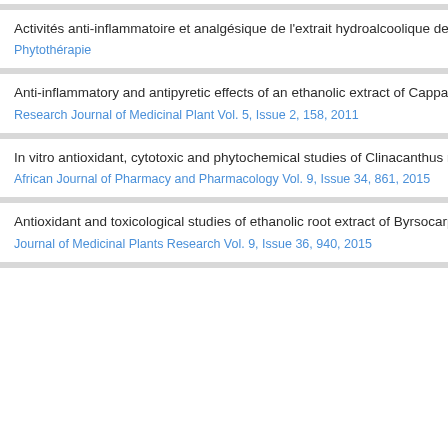Activités anti-inflammatoire et analgésique de l'extrait hydroalcoolique des
Phytothérapie
Anti-inflammatory and antipyretic effects of an ethanolic extract of Cappar
Research Journal of Medicinal Plant Vol. 5, Issue 2, 158, 2011
In vitro antioxidant, cytotoxic and phytochemical studies of Clinacanthus n
African Journal of Pharmacy and Pharmacology Vol. 9, Issue 34, 861, 2015
Antioxidant and toxicological studies of ethanolic root extract of Byrsocarp
Journal of Medicinal Plants Research Vol. 9, Issue 36, 940, 2015